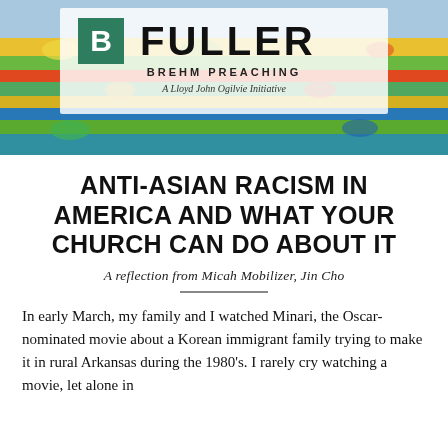[Figure (logo): Fuller Theological Seminary Brehm Preaching logo with colorful artistic banner background. Logo shows a green 'B' icon, large 'FULLER' text, 'BREHM PREACHING' subtitle, and 'A Lloyd John Ogilvie Initiative' tagline, overlaid on a colorful folk-art painting banner.]
ANTI-ASIAN RACISM IN AMERICA AND WHAT YOUR CHURCH CAN DO ABOUT IT
A reflection from Micah Mobilizer, Jin Cho
In early March, my family and I watched Minari, the Oscar-nominated movie about a Korean immigrant family trying to make it in rural Arkansas during the 1980's. I rarely cry watching a movie, let alone in